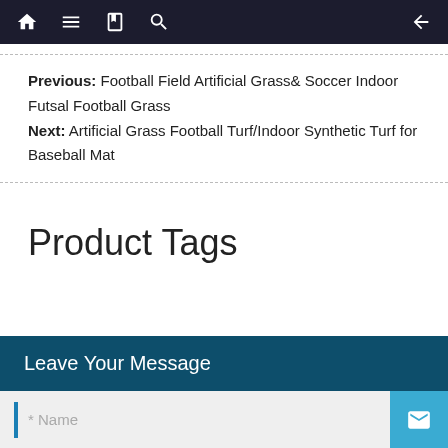Navigation bar with home, menu, book, search icons on left and back arrow on right
Previous: Football Field Artificial Grass& Soccer Indoor Futsal Football Grass
Next: Artificial Grass Football Turf/Indoor Synthetic Turf for Baseball Mat
Product Tags
Leave Your Message
* Name